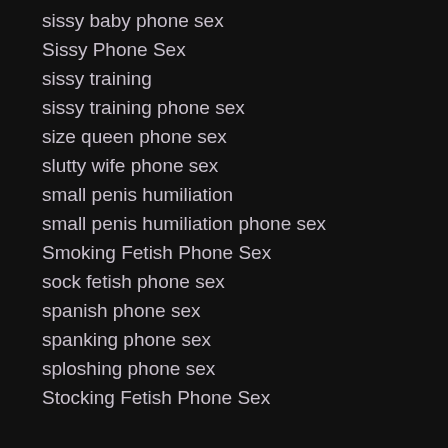shoe fetish
sissy baby phone sex
Sissy Phone Sex
sissy training
sissy training phone sex
size queen phone sex
slutty wife phone sex
small penis humiliation
small penis humiliation phone sex
Smoking Fetish Phone Sex
sock fetish phone sex
spanish phone sex
spanking phone sex
sploshing phone sex
Stocking Fetish Phone Sex